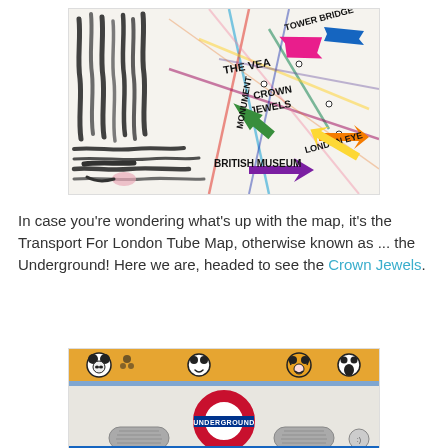[Figure (illustration): Transport For London Tube Map with colorful hand-drawn arrows and labels pointing to landmarks: The VEA, Crown Jewels, Tower Bridge, Monument, London Eye, British Museum. The left side has abstract zebra-like black and white brush strokes.]
In case you're wondering what's up with the map, it's the Transport For London Tube Map, otherwise known as ... the Underground! Here we are, headed to see the Crown Jewels.
[Figure (photo): Photo of a London Underground train car exterior showing the iconic UNDERGROUND roundel sign (red circle with blue bar). The top of the car has colorful cartoon/illustrated characters. The car is white/gray with a blue stripe at the bottom.]